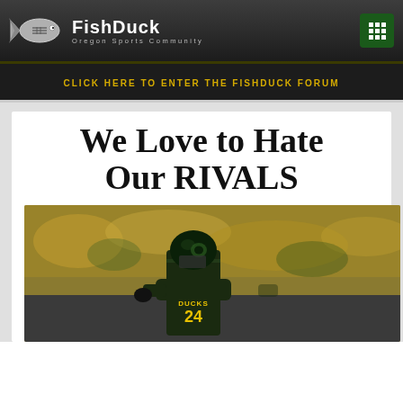FishDuck — Oregon Sports Community
CLICK HERE TO ENTER THE FISHDUCK FORUM
We Love to Hate Our RIVALS
[Figure (photo): Oregon Ducks football player #24 in dark green and black uniform celebrating on field with crowd in background]